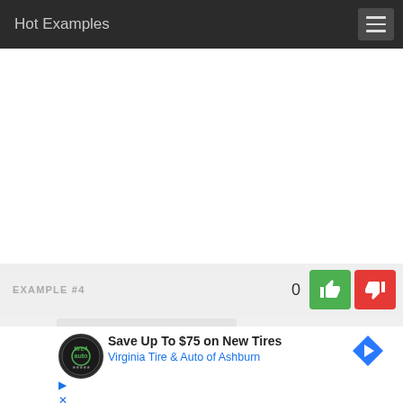Hot Examples
EXAMPLE #4
[Figure (screenshot): Vote buttons: thumbs up (green) and thumbs down (red) with vote count 0]
[Figure (other): Advertisement: Save Up To $75 on New Tires - Virginia Tire & Auto of Ashburn, with circular logo and blue arrow icon]